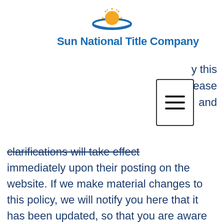[Figure (logo): Sun National Title Company logo with sun and swoosh graphic above company name]
y this
lease
and
clarifications will take effect immediately upon their posting on the website. If we make material changes to this policy, we will notify you here that it has been updated, so that you are aware of what information we collect, how we use it, and under what circumstances, if any, we use and/or disclose it.